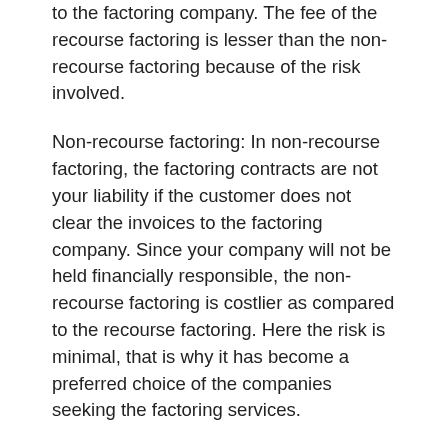to the factoring company. The fee of the recourse factoring is lesser than the non-recourse factoring because of the risk involved.
Non-recourse factoring: In non-recourse factoring, the factoring contracts are not your liability if the customer does not clear the invoices to the factoring company. Since your company will not be held financially responsible, the non-recourse factoring is costlier as compared to the recourse factoring. Here the risk is minimal, that is why it has become a preferred choice of the companies seeking the factoring services.
To get one of the Freight bill factoring, the first thing you need to do is to submit a copy of the invoice to the freight factoring company via email or FAX. When the factoring company will receive your bill, it will validate the same and explore the things like creditworthiness of the client and his payment history of the past. Then the freight bill company will